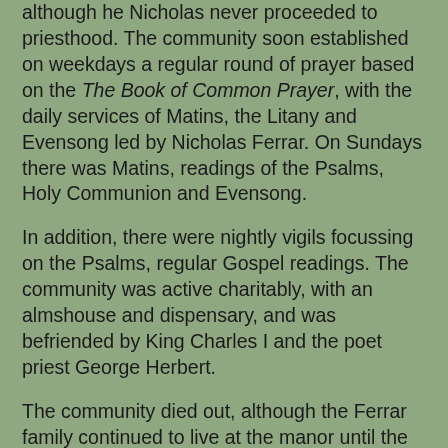although he Nicholas never proceeded to priesthood. The community soon established on weekdays a regular round of prayer based on the The Book of Common Prayer, with the daily services of Matins, the Litany and Evensong led by Nicholas Ferrar. On Sundays there was Matins, readings of the Psalms, Holy Communion and Evensong.
In addition, there were nightly vigils focussing on the Psalms, regular Gospel readings. The community was active charitably, with an almshouse and dispensary, and was befriended by King Charles I and the poet priest George Herbert.
The community died out, although the Ferrar family continued to live at the manor until the mid-18th century. But the Little Gidding Community was an example of a godly family and community, neither unique nor monastic, but firmly committed to the Church, to Anglican spirituality, to The Book of Common Prayer, to following Christ's commands to forswear worldliness, and to devoting themselves to God's service.
Their pattern of life is an inspiration for us, an example...